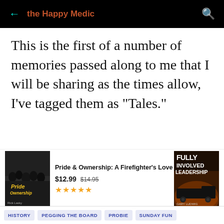← the Happy Medic
This is the first of a number of memories passed along to me that I will be sharing as the times allow, I've tagged them as "Tales."
[Figure (other): Amazon ad banner showing two book covers: 'Pride & Ownership: A Firefighter's Love of the Job' priced at $12.99 (originally $14.95) with 5-star rating, and 'Fully Involved Leadership' by Gary Ludwig. Ads by Amazon label.]
HISTORY  PEGGING THE BOARD  PROBIE  SUNDAY FUN